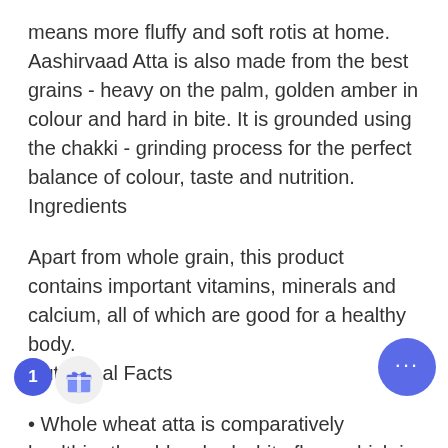means more fluffy and soft rotis at home. Aashirvaad Atta is also made from the best grains - heavy on the palm, golden amber in colour and hard in bite. It is grounded using the chakki - grinding process for the perfect balance of colour, taste and nutrition.
Ingredients
Apart from whole grain, this product contains important vitamins, minerals and calcium, all of which are good for a healthy body.
Nutritional Facts
• Whole wheat atta is comparatively healthier than bleached white flour, which is obtained after processing and 60% extraction from grain. If you are consuming whole wheat atta, you are eating food enriched w... 1, B3, B2, folic acid, calcium, phosphorus, ...e ...zinc. • Many health disorders, which are integrally linked with nourishment like mineral